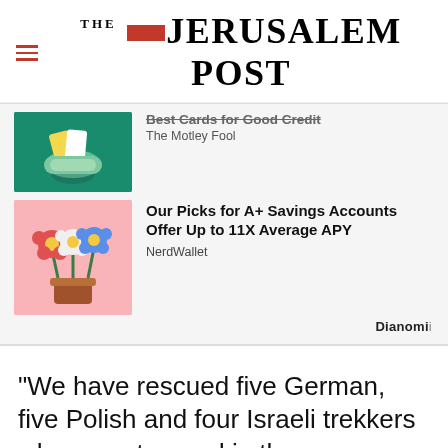THE JERUSALEM POST
[Figure (illustration): Ad image: hand holding credit cards on green background (partially visible, cropped at top)]
Best Cards for Good Credit
The Motley Fool
[Figure (illustration): Ad image: cartoon flowers in a pot on a pink background]
Our Picks for A+ Savings Accounts Offer Up to 11X Average APY
NerdWallet
Dianomi
"We have rescued five German, five Polish and four Israeli trekkers who were trapped in the
Advertisement